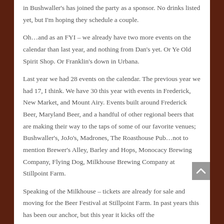in Bushwaller's has joined the party as a sponsor. No drinks listed yet, but I'm hoping they schedule a couple.
Oh…and as an FYI – we already have two more events on the calendar than last year, and nothing from Dan's yet. Or Ye Old Spirit Shop. Or Franklin's down in Urbana.
Last year we had 28 events on the calendar. The previous year we had 17, I think. We have 30 this year with events in Frederick, New Market, and Mount Airy. Events built around Frederick Beer, Maryland Beer, and a handful of other regional beers that are making their way to the taps of some of our favorite venues; Bushwaller's, JoJo's, Madrones, The Roasthouse Pub…not to mention Brewer's Alley, Barley and Hops, Monocacy Brewing Company, Flying Dog, Milkhouse Brewing Company at Stillpoint Farm.
Speaking of the Milkhouse – tickets are already for sale and moving for the Beer Festival at Stillpoint Farm. In past years this has been our anchor, but this year it kicks off the